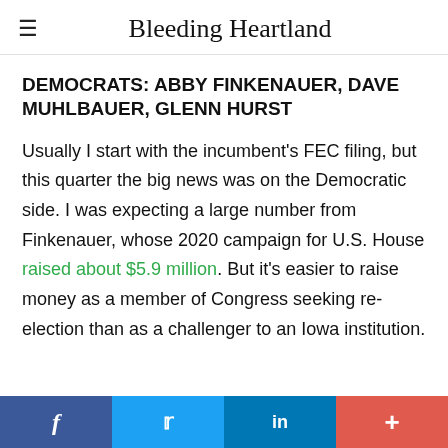Bleeding Heartland
DEMOCRATS: ABBY FINKENAUER, DAVE MUHLBAUER, GLENN HURST
Usually I start with the incumbent's FEC filing, but this quarter the big news was on the Democratic side. I was expecting a large number from Finkenauer, whose 2020 campaign for U.S. House raised about $5.9 million. But it's easier to raise money as a member of Congress seeking re-election than as a challenger to an Iowa institution.
f  in  +